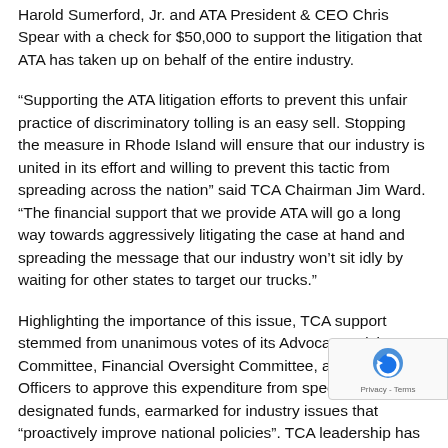Harold Sumerford, Jr. and ATA President & CEO Chris Spear with a check for $50,000 to support the litigation that ATA has taken up on behalf of the entire industry.
“Supporting the ATA litigation efforts to prevent this unfair practice of discriminatory tolling is an easy sell. Stopping the measure in Rhode Island will ensure that our industry is united in its effort and willing to prevent this tactic from spreading across the nation” said TCA Chairman Jim Ward. “The financial support that we provide ATA will go a long way towards aggressively litigating the case at hand and spreading the message that our industry won’t sit idly by waiting for other states to target our trucks.”
Highlighting the importance of this issue, TCA support stemmed from unanimous votes of its Advocacy Advisory Committee, Financial Oversight Committee, and the TCA Officers to approve this expenditure from specifically board designated funds, earmarked for industry issues that “proactively improve national policies”. TCA leadership has deemed this an area w… tremendous potential impact on its membership and